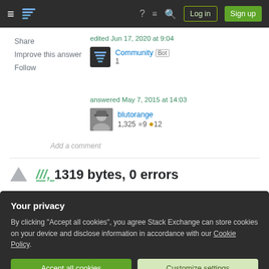Stack Exchange navigation bar with Log in and Sign up buttons
Share
Improve this answer
Follow
edited Jun 17, 2020 at 9:04
Community Bot
1
answered May 7, 2015 at 14:03
blutorange
1,325 ● 9 ● 12
Add a comment
///, 1319 bytes, 0 errors
Your privacy
By clicking "Accept all cookies", you agree Stack Exchange can store cookies on your device and disclose information in accordance with our Cookie Policy.
Accept all cookies
Customize settings
/(=/gD// /QPG//-/NAN/)/N0M//(/(M0E//*/ LCl //&